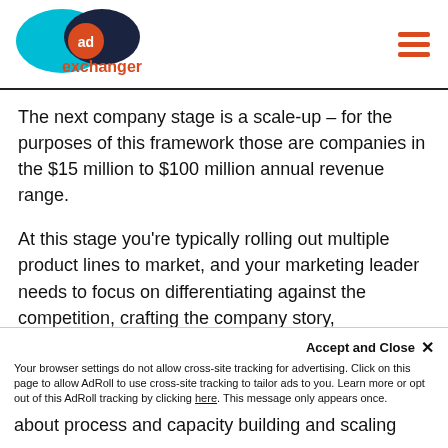AdExchanger logo and navigation
The next company stage is a scale-up – for the purposes of this framework those are companies in the $15 million to $100 million annual revenue range.
At this stage you're typically rolling out multiple product lines to market, and your marketing leader needs to focus on differentiating against the competition, crafting the company story, orchestrating a pipeline of customer success stories and scaling up every marketing process.
about process and capacity building and scaling